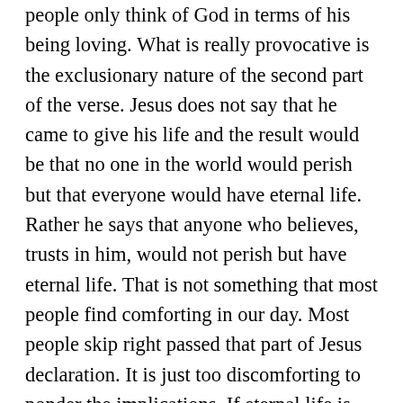people only think of God in terms of his being loving. What is really provocative is the exclusionary nature of the second part of the verse. Jesus does not say that he came to give his life and the result would be that no one in the world would perish but that everyone would have eternal life. Rather he says that anyone who believes, trusts in him, would not perish but have eternal life. That is not something that most people find comforting in our day. Most people skip right passed that part of Jesus declaration. It is just too discomforting to ponder the implications. If eternal life is given only to those who trust Jesus, then it is not given to those who do not trust him. In the western world that is one of the worst possible things a person could say and believe. It is considered intolerant beyond measure. The theology of